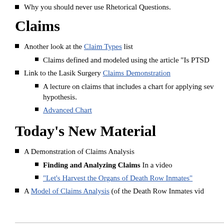Why you should never use Rhetorical Questions.
Claims
Another look at the Claim Types list
Claims defined and modeled using the article "Is PTSD
Link to the Lasik Surgery Claims Demonstration
A lecture on claims that includes a chart for applying sev hypothesis.
Advanced Chart
Today's New Material
A Demonstration of Claims Analysis
Finding and Analyzing Claims In a video
“Let’s Harvest the Organs of Death Row Inmates”
A Model of Claims Analysis (of the Death Row Inmates vid